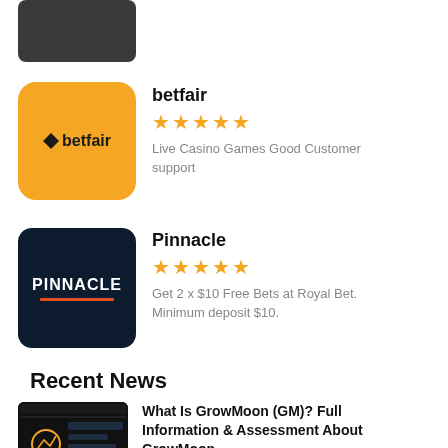[Figure (logo): Dark grey/black placeholder logo image at top left]
[Figure (logo): Betfair logo: orange/yellow square with diamond and betfair text in black]
betfair
★★★★★
Live Casino Games Good Customer support
[Figure (logo): Pinnacle logo: dark navy square with PINNACLE text in white and orange underline]
Pinnacle
★★★★★
Get 2 x $10 Free Bets at Royal Bet. Minimum deposit $10.
Recent News
[Figure (screenshot): Dark screenshot thumbnail showing a chart/graph interface for GrowMoon]
What Is GrowMoon (GM)? Full Information & Assessment About GrowMoon